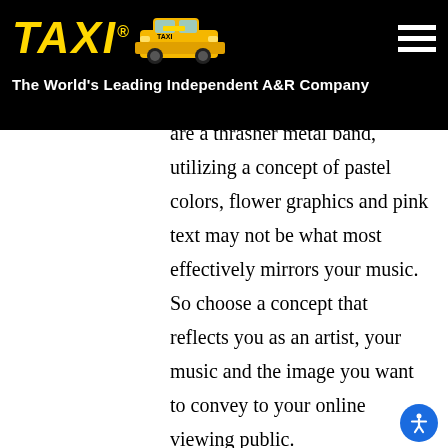TAXI® — The World's Leading Independent A&R Company
concept of your music and use that as a staging point for your design. In other words, if you are a thrasher metal band, utilizing a concept of pastel colors, flower graphics and pink text may not be what most effectively mirrors your music. So choose a concept that reflects you as an artist, your music and the image you want to convey to your online viewing public.
Color:   Color is something that many first-timers don't give much thought to, but ultimately